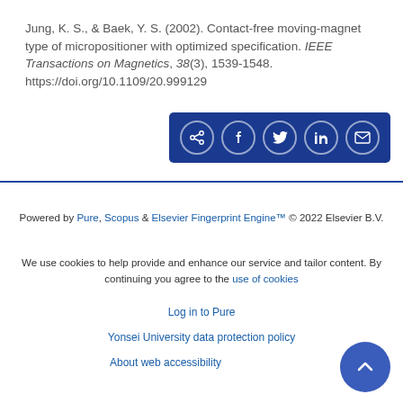Jung, K. S., & Baek, Y. S. (2002). Contact-free moving-magnet type of micropositioner with optimized specification. IEEE Transactions on Magnetics, 38(3), 1539-1548. https://doi.org/10.1109/20.999129
[Figure (other): Share buttons bar with icons for share, Facebook, Twitter, LinkedIn, and email on a dark blue background]
Powered by Pure, Scopus & Elsevier Fingerprint Engine™ © 2022 Elsevier B.V.
We use cookies to help provide and enhance our service and tailor content. By continuing you agree to the use of cookies
Log in to Pure
Yonsei University data protection policy
About web accessibility